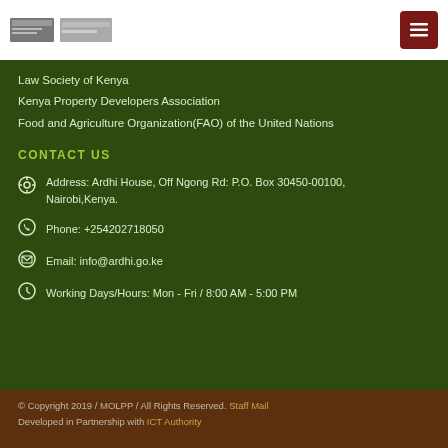[Figure (logo): Government logos in white header bar]
Law Society of Kenya
Kenya Property Developers Association
Food and Agriculture Organization(FAO) of the United Nations
CONTACT US
Address: Ardhi House, Off Ngong Rd: P.O. Box 30450-00100, Nairobi,Kenya.
Phone: +254202718050
Email: info@ardhi.go.ke
Working Days/Hours: Mon - Fri / 8:00 AM - 5:00 PM
© Copyright 2019 / MOLPP / All Rights Reserved. Staff Mail Developed in Partnership with ICT Authority